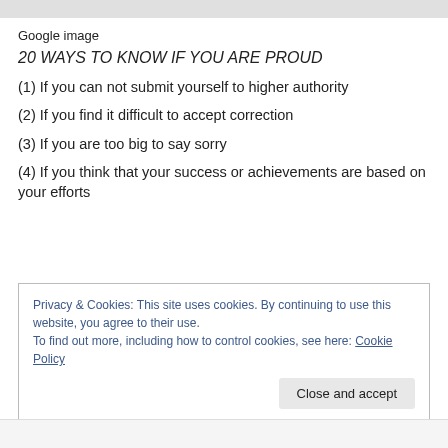Google image
20 WAYS TO KNOW IF YOU ARE PROUD
(1) If you can not submit yourself to higher authority
(2) If you find it difficult to accept correction
(3) If you are too big to say sorry
(4) If you think that your success or achievements are based on your efforts
Privacy & Cookies: This site uses cookies. By continuing to use this website, you agree to their use.
To find out more, including how to control cookies, see here: Cookie Policy